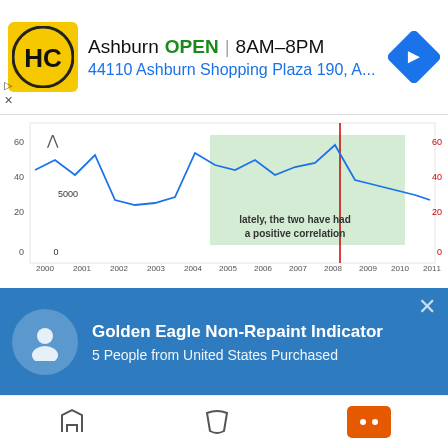[Figure (other): Advertisement banner for HC store in Ashburn. Logo with HC letters on yellow background. Text: Ashburn OPEN 8AM-8PM, 44110 Ashburn Shopping Plaza 190, A... with navigation arrow icon.]
[Figure (continuous-plot): Financial line chart showing Nikkei and USD/JPY correlation from 2000 to 2011. Blue line and green shaded area with annotation reading 'lately, the two have had a positive correlation'. Y-axis left shows values 0-5000, Y-axis right shows values 0-60. Red vertical line around 2008.]
When the financial crisis hit, however, the relationships just went crazy like Lindsay Lohan.
The Nikkei and USD/JPY, which used to move opposit
[Figure (other): Golden Eagle Non-Repaint Indicator notification bar. Blue background. User icon circle. Text: Golden Eagle Non-Repaint Indicator, 5 People from United States Purchased. Close X button.]